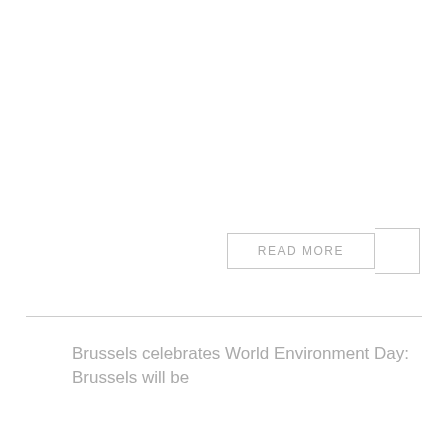READ MORE
Brussels celebrates World Environment Day: Brussels will be